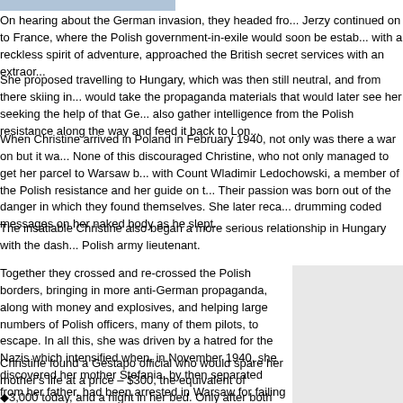[Figure (other): Blue/gray header bar at top left]
On hearing about the German invasion, they headed fro... Jerzy continued on to France, where the Polish government-in-exile would soon be estab... with a reckless spirit of adventure, approached the British secret services with an extraor...
She proposed travelling to Hungary, which was then still neutral, and from there skiing in... would take the propaganda materials that would later see her seeking the help of that Ge... also gather intelligence from the Polish resistance along the way and feed it back to Lon...
When Christine arrived in Poland in February 1940, not only was there a war on but it wa... None of this discouraged Christine, who not only managed to get her parcel to Warsaw b... with Count Wladimir Ledochowski, a member of the Polish resistance and her guide on t... Their passion was born out of the danger in which they found themselves. She later reca... drumming coded messages on her naked body as he slept.
The insatiable Christine also began a more serious relationship in Hungary with the dash... Polish army lieutenant.
Together they crossed and re-crossed the Polish borders, bringing in more anti-German propaganda, along with money and explosives, and helping large numbers of Polish officers, many of them pilots, to escape. In all this, she was driven by a hatred for the Nazis which intensified when, in November 1940, she discovered her mother Stefania, by then separated from her father, had been arrested in Warsaw for failing to register as a Jew.
Christine found a Gestapo official who would spare her mother's life at a price – $300, the equivalent of ◆3,000 today, and a night in her bed. Only after both payments